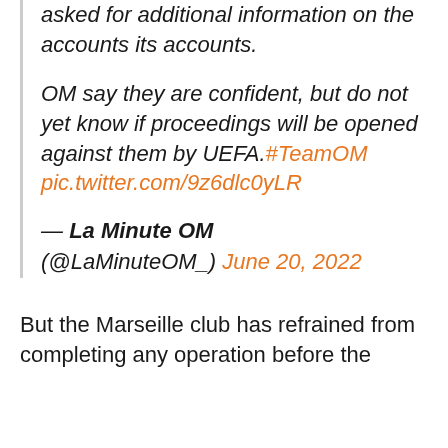asked for additional information on the accounts its accounts.

OM say they are confident, but do not yet know if proceedings will be opened against them by UEFA.#TeamOM pic.twitter.com/9z6dlc0yLR

— La Minute OM (@LaMinuteOM_) June 20, 2022
But the Marseille club has refrained from completing any operation before the